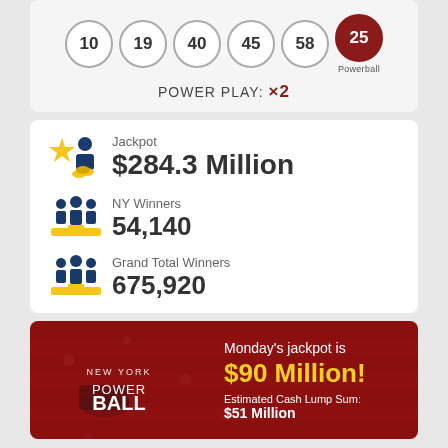[Figure (infographic): Powerball lottery numbers: 10, 19, 40, 45, 58, and Powerball 25]
POWER PLAY: ×2
Jackpot $284.3 Million
NY Winners 54,140
Grand Total Winners 675,920
[Figure (infographic): New York Powerball promotional banner: Monday's jackpot is $90 Million! Estimated Cash Lump Sum: $51 Million]